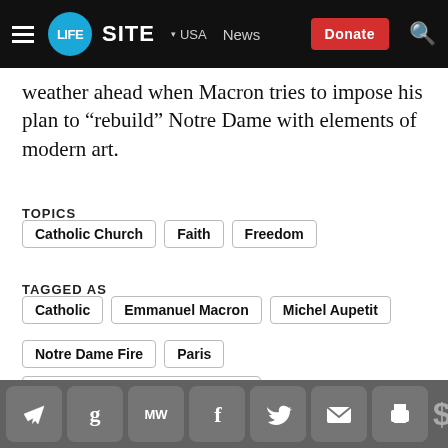LIFESITE | USA | News | Donate
weather ahead when Macron tries to impose his plan to “rebuild” Notre Dame with elements of modern art.
TOPICS
Catholic Church
Faith
Freedom
TAGGED AS
Catholic
Emmanuel Macron
Michel Aupetit
Notre Dame Fire
Paris
Separation Of Church And State
SHARE
Social share icons: Telegram, Gettr, MeWe, Facebook, Twitter, Email, Print, Donate